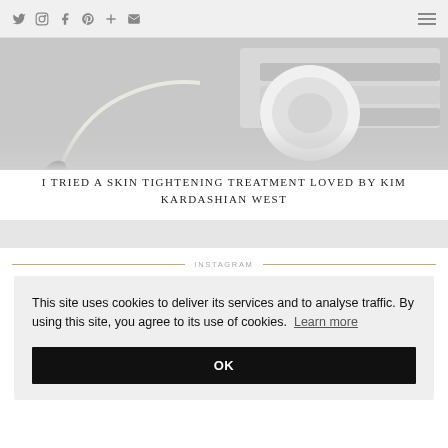Social icons: Twitter, Instagram, Facebook, Pinterest, Plus, Email | Hamburger menu
[Figure (photo): Hero image showing what appears to be headphones and gray folded towels on a white background]
I TRIED A SKIN TIGHTENING TREATMENT LOVED BY KIM KARDASHIAN WEST
This site uses cookies to deliver its services and to analyse traffic. By using this site, you agree to its use of cookies. Learn more
OK
INSTAGRAM